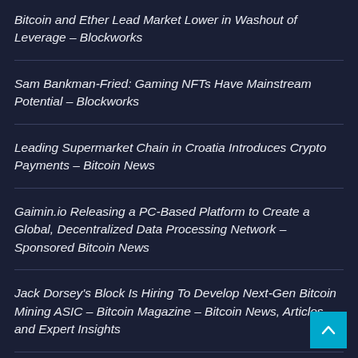Bitcoin and Ether Lead Market Lower in Washout of Leverage – Blockworks
Sam Bankman-Fried: Gaming NFTs Have Mainstream Potential – Blockworks
Leading Supermarket Chain in Croatia Introduces Crypto Payments – Bitcoin News
Gaimin.io Releasing a PC-Based Platform to Create a Global, Decentralized Data Processing Network – Sponsored Bitcoin News
Jack Dorsey's Block Is Hiring To Develop Next-Gen Bitcoin Mining ASIC – Bitcoin Magazine – Bitcoin News, Articles and Expert Insights
Tether's Stablecoin Peg Breaks as Bitcoin Plunges to $27,000 – CoinCheckup Blog – Cryptocurrency News